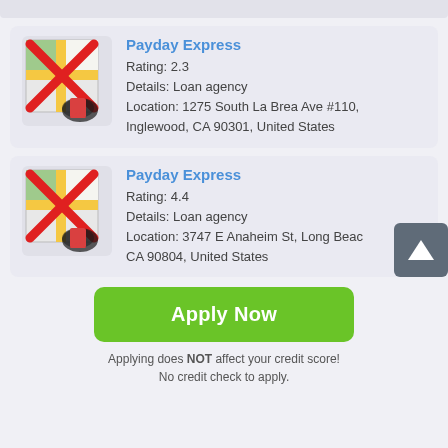[Figure (screenshot): Map icon with red X overlay for Payday Express listing 1]
Payday Express
Rating: 2.3
Details: Loan agency
Location: 1275 South La Brea Ave #110, Inglewood, CA 90301, United States
[Figure (screenshot): Map icon with red X overlay for Payday Express listing 2]
Payday Express
Rating: 4.4
Details: Loan agency
Location: 3747 E Anaheim St, Long Beach, CA 90804, United States
Apply Now
Applying does NOT affect your credit score!
No credit check to apply.